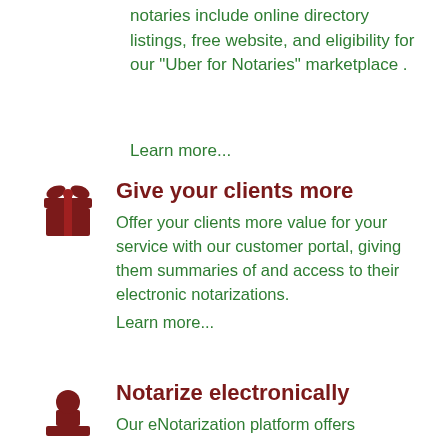notaries include online directory listings, free website, and eligibility for our “Uber for Notaries” marketplace .
Learn more...
[Figure (illustration): Dark red gift box icon with ribbon and bow]
Give your clients more
Offer your clients more value for your service with our customer portal, giving them summaries of and access to their electronic notarizations.
Learn more...
[Figure (illustration): Dark red notary stamp / person icon]
Notarize electronically
Our eNotarization platform offers